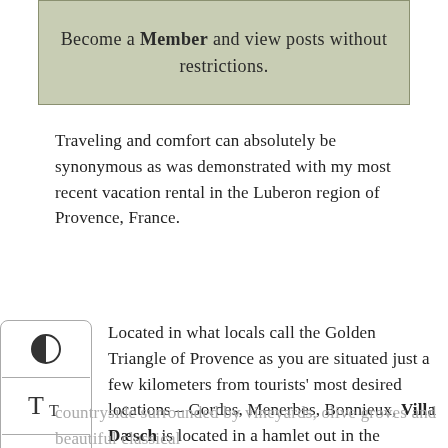Become a Member and view posts without restrictions.
Traveling and comfort can absolutely be synonymous as was demonstrated with my most recent vacation rental in the Luberon region of Provence, France.
[Figure (other): Sidebar UI widget with contrast icon, text size icon, and upload/scroll-to-top icon]
Located in what locals call the Golden Triangle of Provence as you are situated just a few kilometers from tourists' most desired locations – Gordes, Menerbes, Bonnieux, Villa Dæsch is located in a hamlet out in the countryside surrounded by vineyards, olive groves and beautiful classical